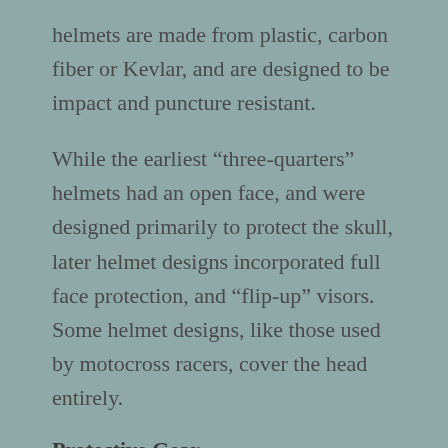helmets are made from plastic, carbon fiber or Kevlar, and are designed to be impact and puncture resistant.
While the earliest “three-quarters” helmets had an open face, and were designed primarily to protect the skull, later helmet designs incorporated full face protection, and “flip-up” visors. Some helmet designs, like those used by motocross racers, cover the head entirely.
Protective Gear
The right gear is considered one of the most important...